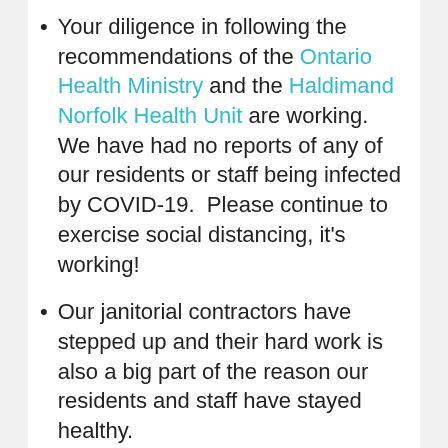Your diligence in following the recommendations of the Ontario Health Ministry and the Haldimand Norfolk Health Unit are working. We have had no reports of any of our residents or staff being infected by COVID-19.  Please continue to exercise social distancing, it’s working!
Our janitorial contractors have stepped up and their hard work is also a big part of the reason our residents and staff have stayed healthy.
Our community – residents in